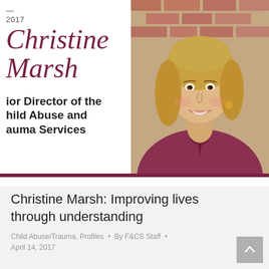[Figure (photo): Card banner showing the name 'Christine Marsh' in large script font in maroon, with year 2017, and her role 'Senior Director of the Child Abuse and Trauma Services', alongside a portrait photo of a smiling blonde woman wearing a maroon top, in front of a brick wall background.]
Christine Marsh: Improving lives through understanding
Child Abuse/Trauma, Profiles • By F&CS Staff • April 14, 2017